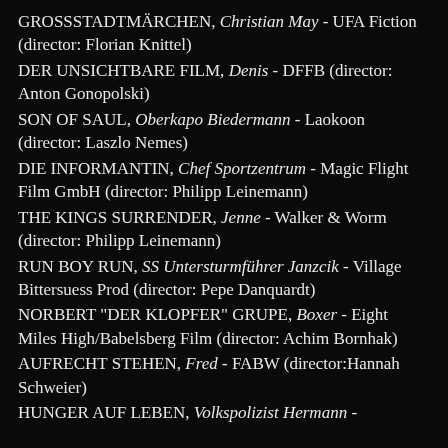GROSSSTADTMÄRCHEN, Christian May - UFA Fiction (director: Florian Knittel)
DER UNSICHTBARE FILM, Denis - DFFB (director: Anton Gonopolski)
SON OF SAUL, Oberkapo Biedermann - Laokoon (director: Laszlo Nemes)
DIE INFORMANTIN, Chef Sportzentrum - Magic Flight Film GmbH (director: Philipp Leinemann)
THE KINGS SURRENDER, Jenne - Walker & Worm (director: Philipp Leinemann)
RUN BOY RUN, SS Untersturmführer Janzcik - Village Bittersuess Prod (director: Pepe Danquardt)
NORBERT "DER KLOPFER" GRUPE, Boxer - Eight Miles High/Babelsberg Film (director: Achim Bornhak)
AUFRECHT STEHEN, Fred - FABW (director:Hannah Schweier)
HUNGER AUF LEBEN, Volkspolizist Hermann - Scenic Media Filmproduktion gesellschaft...